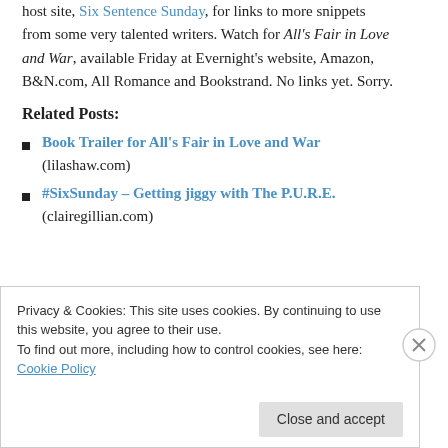host site, Six Sentence Sunday, for links to more snippets from some very talented writers. Watch for All's Fair in Love and War, available Friday at Evernight's website, Amazon, B&N.com, All Romance and Bookstrand. No links yet. Sorry.
Related Posts:
Book Trailer for All's Fair in Love and War (lilashaw.com)
#SixSunday – Getting jiggy with The P.U.R.E. (clairegillian.com)
Privacy & Cookies: This site uses cookies. By continuing to use this website, you agree to their use. To find out more, including how to control cookies, see here: Cookie Policy